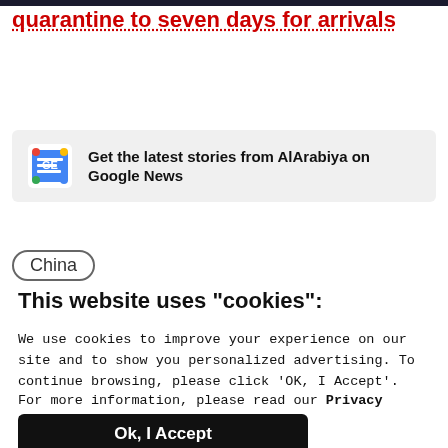quarantine to seven days for arrivals
[Figure (logo): Google News banner with GN icon and text: Get the latest stories from AlArabiya on Google News]
China
This website uses "cookies":
We use cookies to improve your experience on our site and to show you personalized advertising. To continue browsing, please click ‘OK, I Accept’.
For more information, please read our Privacy Policy
Ok, I Accept